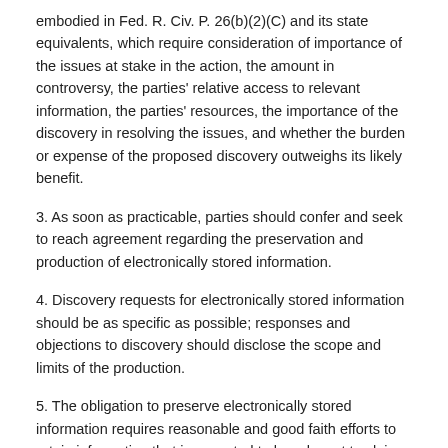embodied in Fed. R. Civ. P. 26(b)(2)(C) and its state equivalents, which require consideration of importance of the issues at stake in the action, the amount in controversy, the parties' relative access to relevant information, the parties' resources, the importance of the discovery in resolving the issues, and whether the burden or expense of the proposed discovery outweighs its likely benefit.
3. As soon as practicable, parties should confer and seek to reach agreement regarding the preservation and production of electronically stored information.
4. Discovery requests for electronically stored information should be as specific as possible; responses and objections to discovery should disclose the scope and limits of the production.
5. The obligation to preserve electronically stored information requires reasonable and good faith efforts to retain information that is expected to be relevant to claims or defenses in reasonably anticipated or pending litigation. However, it is unreasonable to expect parties to take every conceivable step or disproportionate steps to preserve each instance of relevant electronically stored information.